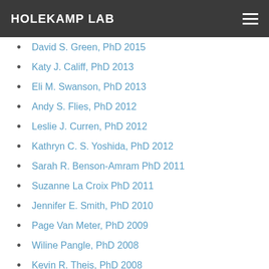HOLEKAMP LAB
David S. Green, PhD 2015
Katy J. Califf, PhD 2013
Eli M. Swanson, PhD 2013
Andy S. Flies, PhD 2012
Leslie J. Curren, PhD 2012
Kathryn C. S. Yoshida, PhD 2012
Sarah R. Benson-Amram PhD 2011
Suzanne La Croix PhD 2011
Jennifer E. Smith, PhD 2010
Page Van Meter, PhD 2009
Wiline Pangle, PhD 2008
Kevin R. Theis, PhD 2008
Joseph M. Kolowski, PhD 2007
Jaime B. Tanner, PhD 2007
Heather E. Watts, PhD 2007